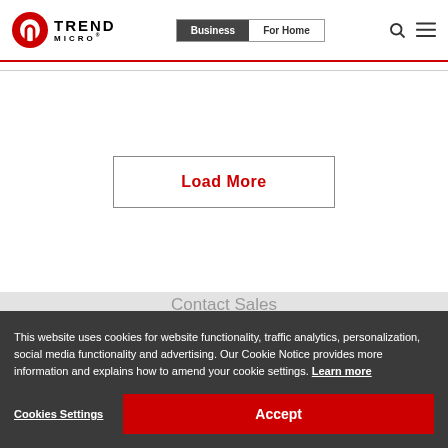[Figure (logo): Trend Micro logo with red swirl icon and TREND MICRO wordmark]
Business | For Home navigation tabs with search and menu icons
Load More
Contact Sales
Trust Center
Privacy
Support
Site
This website uses cookies for website functionality, traffic analytics, personalization, social media functionality and advertising. Our Cookie Notice provides more information and explains how to amend your cookie settings. Learn more
Cookies Settings
Accept